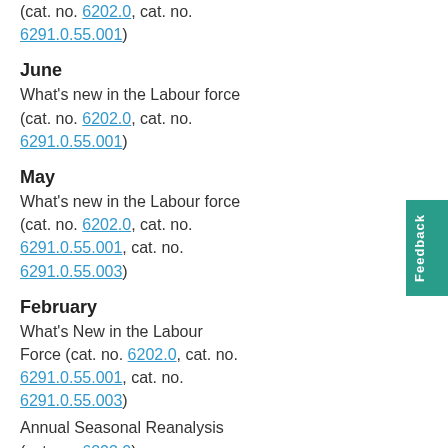6291.0.55.001)
June
What's new in the Labour force (cat. no. 6202.0, cat. no. 6291.0.55.001)
May
What's new in the Labour force (cat. no. 6202.0, cat. no. 6291.0.55.001, cat. no. 6291.0.55.003)
February
What's New in the Labour Force (cat. no. 6202.0, cat. no. 6291.0.55.001, cat. no. 6291.0.55.003)
Annual Seasonal Reanalysis (cat. no. 6202.0)
Analysis of changes to Labour Force Regional Estimates...